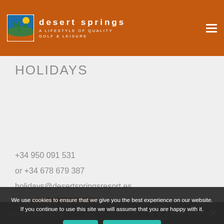desert springs — A LIFESTYLE OF QUALITY GOLF & LEISURE
HOLIDAYS
BOOK ONLINE
+34 950 091 531
or +34 678 679 387
holidays@desertspringsresort.es
We use cookies to ensure that we give you the best experience on our website. If you continue to use this site we will assume that you are happy with it.
REAL ESTATE   BACK TO TOP